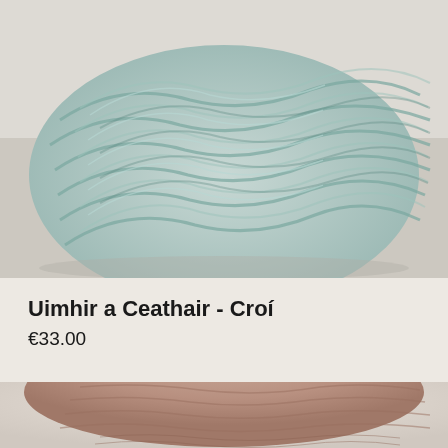[Figure (photo): A skein of teal/sage green yarn photographed close-up on a light grey background. The yarn is wound tightly and shows texture of twisted fibers.]
Uimhir a Ceathair - Croí
€33.00
[Figure (photo): Bottom portion of a person wearing a knitted hat in a warm brownish-pink tone, partially visible at the bottom of the page with a blurred light background.]